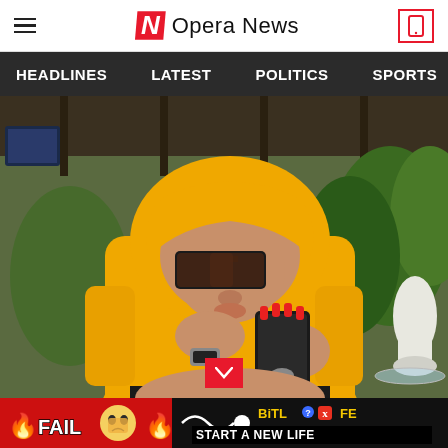Opera News
HEADLINES  LATEST  POLITICS  SPORTS  B
[Figure (photo): Woman wearing a yellow hoodie and large black sunglasses, holding a black smartphone with red nails and a watch, seated in a casual indoor/outdoor setting with plants in the background.]
[Figure (infographic): BitLife advertisement banner: FAIL text with cartoon face, flames, and 'START A NEW LIFE' text on black/red background.]